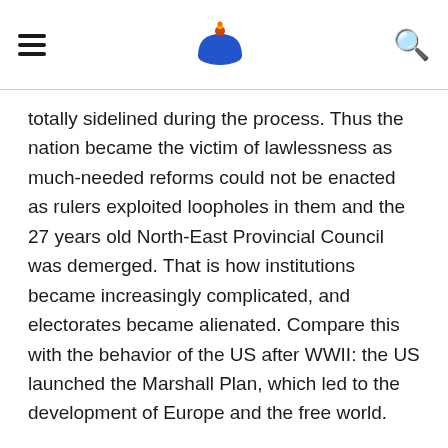[hamburger menu] [logo] [search icon]
totally sidelined during the process. Thus the nation became the victim of lawlessness as much-needed reforms could not be enacted as rulers exploited loopholes in them and the 27 years old North-East Provincial Council was demerged. That is how institutions became increasingly complicated, and electorates became alienated. Compare this with the behavior of the US after WWII: the US launched the Marshall Plan, which led to the development of Europe and the free world.
The rise of anti-government movements led by a true Buddhist Monk further impeded the functioning of institutions and these forces of disintegration received a powerful boost in 2014, first by fielding a common